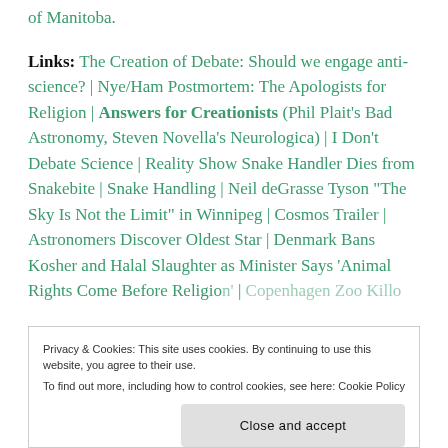of Manitoba.
Links: The Creation of Debate: Should we engage anti-science? | Nye/Ham Postmortem: The Apologists for Religion | Answers for Creationists (Phil Plait’s Bad Astronomy, Steven Novella’s Neurologica) | I Don’t Debate Science | Reality Show Snake Handler Dies from Snakebite | Snake Handling | Neil deGrasse Tyson “The Sky Is Not the Limit” in Winnipeg | Cosmos Trailer | Astronomers Discover Oldest Star | Denmark Bans Kosher and Halal Slaughter as Minister Says ‘Animal Rights Come Before Religion’ | Copenhagen Zoo Kills
Privacy & Cookies: This site uses cookies. By continuing to use this website, you agree to their use.
To find out more, including how to control cookies, see here: Cookie Policy
Close and accept